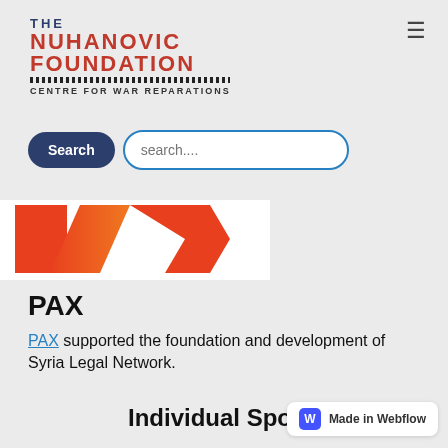[Figure (logo): The Nuhanovic Foundation Centre for War Reparations logo with red text and decorative line]
Search  search....
[Figure (logo): PAX organization logo with orange geometric shapes on white background]
PAX
PAX supported the foundation and development of Syria Legal Network.
Individual Spons...